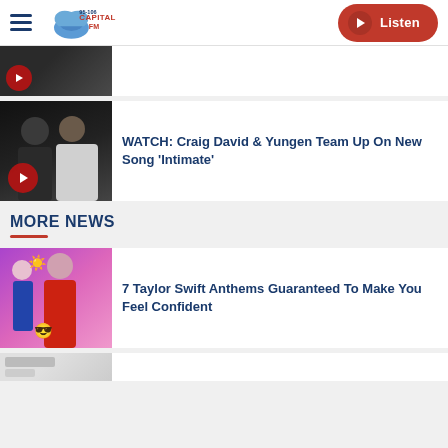Capital FM 95-106 | Listen
[Figure (photo): Partial top article card with a person in dark clothing and a red play button overlay]
[Figure (photo): Craig David and Yungen posing together, Craig in dark t-shirt, Yungen in white shirt, with red play button overlay]
WATCH: Craig David & Yungen Team Up On New Song 'Intimate'
MORE NEWS
[Figure (photo): Taylor Swift collage with Taylor in various outfits on a colorful purple/pink background with sun and sunglasses emojis]
7 Taylor Swift Anthems Guaranteed To Make You Feel Confident
[Figure (photo): Partial bottom article card showing beginning of another news item]